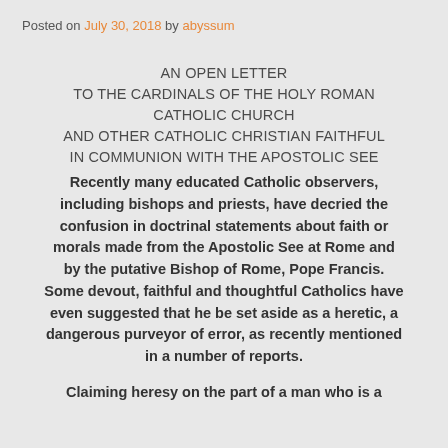Posted on July 30, 2018 by abyssum
AN OPEN LETTER
TO THE CARDINALS OF THE HOLY ROMAN CATHOLIC CHURCH
AND OTHER CATHOLIC CHRISTIAN FAITHFUL
IN COMMUNION WITH THE APOSTOLIC SEE
Recently many educated Catholic observers, including bishops and priests, have decried the confusion in doctrinal statements about faith or morals made from the Apostolic See at Rome and by the putative Bishop of Rome, Pope Francis. Some devout, faithful and thoughtful Catholics have even suggested that he be set aside as a heretic, a dangerous purveyor of error, as recently mentioned in a number of reports.
Claiming heresy on the part of a man who is a